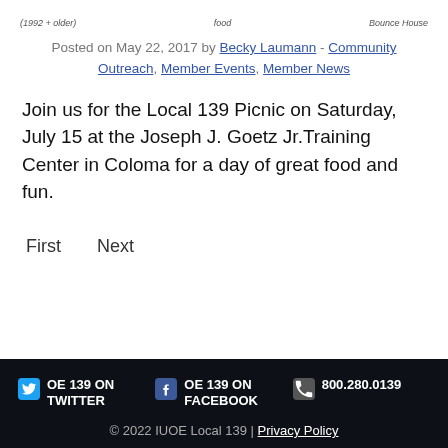[Figure (illustration): Top strip showing partial images with handwritten labels: '(1992 + older)', 'food', 'Bounce House']
Posted on May 22, 2017 by Becky Laumann - Community Outreach, Member Events, Member News
Join us for the Local 139 Picnic on Saturday, July 15 at the Joseph J. Goetz Jr.Training Center in Coloma for a day of great food and fun.
First   Next
OE 139 ON TWITTER   OE 139 ON FACEBOOK   800.280.0139   © 2022 IUOE Local 139 | Privacy Policy